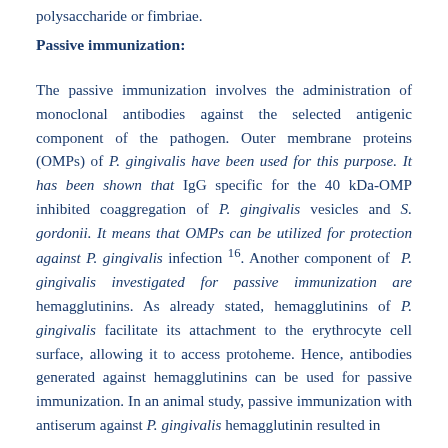polysaccharide or fimbriae.
Passive immunization:
The passive immunization involves the administration of monoclonal antibodies against the selected antigenic component of the pathogen. Outer membrane proteins (OMPs) of P. gingivalis have been used for this purpose. It has been shown that IgG specific for the 40 kDa-OMP inhibited coaggregation of P. gingivalis vesicles and S. gordonii. It means that OMPs can be utilized for protection against P. gingivalis infection 16. Another component of P. gingivalis investigated for passive immunization are hemagglutinins. As already stated, hemagglutinins of P. gingivalis facilitate its attachment to the erythrocyte cell surface, allowing it to access protoheme. Hence, antibodies generated against hemagglutinins can be used for passive immunization. In an animal study, passive immunization with antiserum against P. gingivalis hemagglutinin resulted in